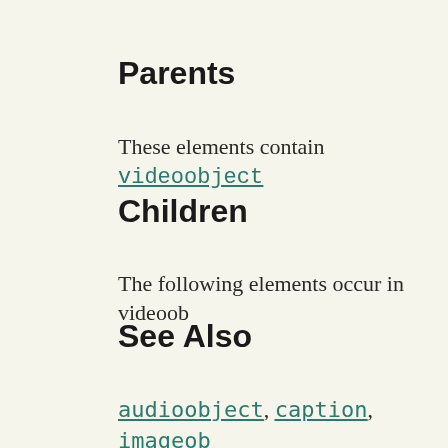Parents
These elements contain videoobject
Children
The following elements occur in videoob
See Also
audioobject, caption, imageob
Examples